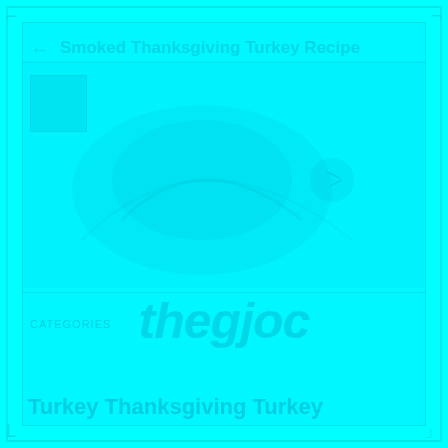Smoked Thanksgiving Turkey Recipe
[Figure (photo): Full-page cyan-toned image of a smoked turkey, appearing as a large food photograph with heavy cyan color overlay making details barely visible]
theqjoc
Categories
Turkey Thanksgiving Turkey